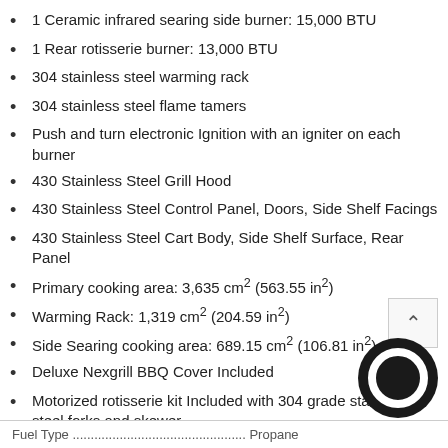1 Ceramic infrared searing side burner: 15,000 BTU
1 Rear rotisserie burner: 13,000 BTU
304 stainless steel warming rack
304 stainless steel flame tamers
Push and turn electronic Ignition with an igniter on each burner
430 Stainless Steel Grill Hood
430 Stainless Steel Control Panel, Doors, Side Shelf Facings
430 Stainless Steel Cart Body, Side Shelf Surface, Rear Panel
Primary cooking area: 3,635 cm² (563.55 in²)
Warming Rack: 1,319 cm² (204.59 in²)
Side Searing cooking area: 689.15 cm² (106.81 in²)
Deluxe Nexgrill BBQ Cover Included
Motorized rotisserie kit Included with 304 grade stainless steel forks and skewer
Rear access removable grease tray for easy cleaning
Requires 13 kg propane gas tank (not included)